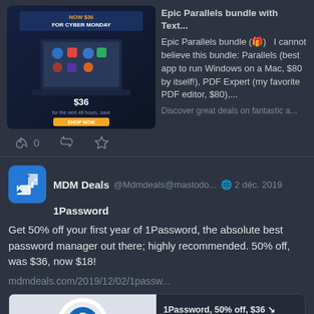[Figure (screenshot): Cyber Monday promo image for Parallels bundle showing laptop with app icons and $36 price badge]
Epic Parallels bundle with Text...
Epic Parallels bundle (🎁)   I cannot believe this bundle: Parallels (best app to run Windows on a Mac, $80 by itself!), PDF Expert (my favorite PDF editor, $80),...
Discover great deals on fantastic a...
↩ 0  🔁  ★
MDM Deals @Mdmdeals@mastodo... 🌐 2 déc. 2019
1Password
Get 50% off your first year of 1Password, the absolute best password manager out there; highly recommended. 50% off, was $36, now $18!
mdmdeals.com/2019/12/02/1passw...
1Password, 50% off, $36 ↘ $18!...
1Password   Get 50% off your